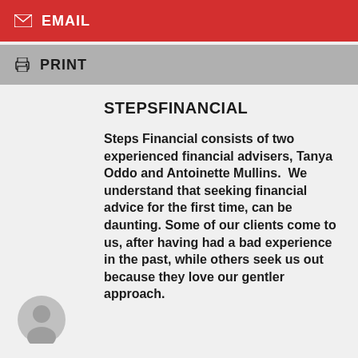EMAIL
PRINT
STEPSFINANCIAL
Steps Financial consists of two experienced financial advisers, Tanya Oddo and Antoinette Mullins. We understand that seeking financial advice for the first time, can be daunting. Some of our clients come to us, after having had a bad experience in the past, while others seek us out because they love our gentler approach.